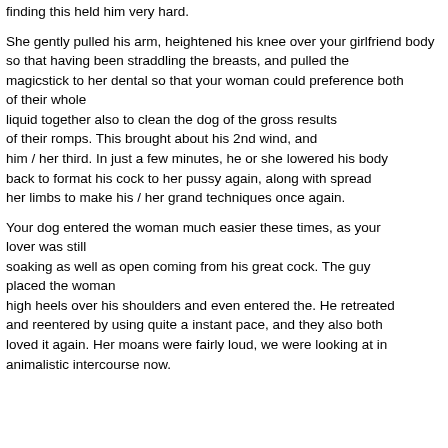finding this held him very hard.
She gently pulled his arm, heightened his knee over your girlfriend body so that having been straddling the breasts, and pulled the magicstick to her dental so that your woman could preference both of their whole liquid together also to clean the dog of the gross results of their romps. This brought about his 2nd wind, and him / her third. In just a few minutes, he or she lowered his body back to format his cock to her pussy again, along with spread her limbs to make his / her grand techniques once again.
Your dog entered the woman much easier these times, as your lover was still soaking as well as open coming from his great cock. The guy placed the woman high heels over his shoulders and even entered the. He retreated and reentered by using quite a instant pace, and they also both loved it again. Her moans were fairly loud, we were looking at in animalistic intercourse now.